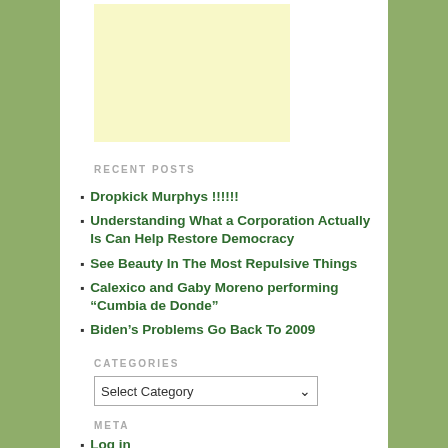[Figure (other): Light yellow advertisement placeholder box]
RECENT POSTS
Dropkick Murphys !!!!!!
Understanding What a Corporation Actually Is Can Help Restore Democracy
See Beauty In The Most Repulsive Things
Calexico and Gaby Moreno performing “Cumbia de Donde”
Biden’s Problems Go Back To 2009
CATEGORIES
Select Category
META
Log in